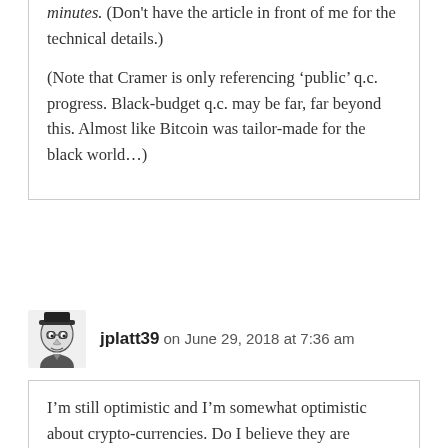minutes. (Don't have the article in front of me for the technical details.)
(Note that Cramer is only referencing 'public' q.c. progress. Black-budget q.c. may be far, far beyond this. Almost like Bitcoin was tailor-made for the black world…)
jplatt39 on June 29, 2018 at 7:36 am
I'm still optimistic and I'm somewhat optimistic about crypto-currencies. Do I believe they are funding covert operations? Of course. Can they be used to transfer wealth without the possibility of appeal? Can Amazon censor e-books?
The black market is not just Silk Road. American manufacturing got its start when Samuel Slater learned all he could about the textile business then defied a travel ban to come to New England and open a factory on the Blackstone River. Wall Street would crucify him.